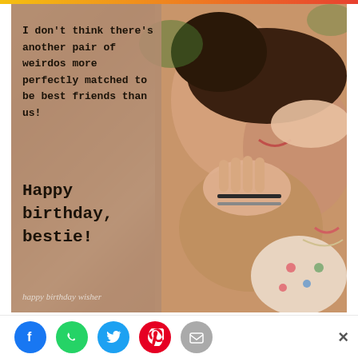[Figure (photo): Birthday card image showing two young women lying on the ground laughing, covering each other's eyes with their hands. Left side has a brownish-pink overlay with text. Right side shows the photo.]
I don't think there's another pair of weirdos more perfectly matched to be best friends than us!
Happy birthday, bestie!
happy birthday wisher
[Figure (infographic): Social sharing icons row: Facebook (blue), WhatsApp (green), Twitter (blue), Pinterest (red), Email (grey)]
[Figure (screenshot): Bottom ad area showing outdoor trees background with a 'Hold and Move' game advertisement overlay]